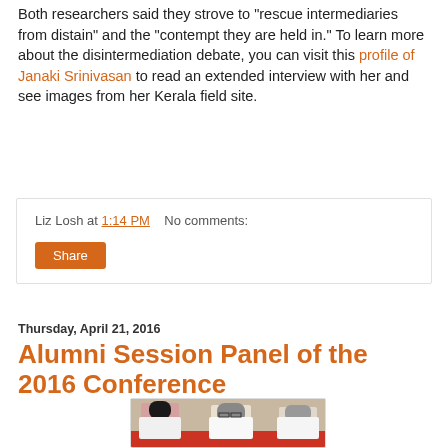Both researchers said they strove to "rescue intermediaries from distain" and the "contempt they are held in." To learn more about the disintermediation debate, you can visit this profile of Janaki Srinivasan to read an extended interview with her and see images from her Kerala field site.
Liz Losh at 1:14 PM    No comments:
Share
Thursday, April 21, 2016
Alumni Session Panel of the 2016 Conference
[Figure (photo): Photo of people sitting at a red-covered table, writing or working, wearing white t-shirts. Conference setting.]